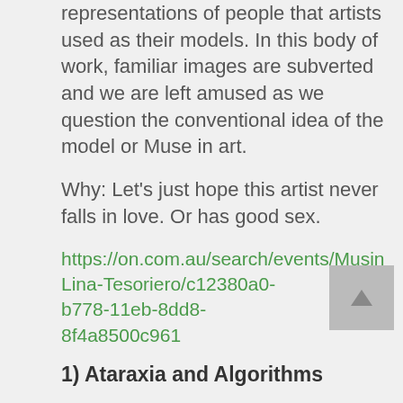representations of people that artists used as their models. In this body of work, familiar images are subverted and we are left amused as we question the conventional idea of the model or Muse in art.
Why: Let's just hope this artist never falls in love. Or has good sex.
https://on.com.au/search/events/Musing-Lina-Tesoriero/c12380a0-b778-11eb-8dd8-8f4a8500c961
1) Ataraxia and Algorithms